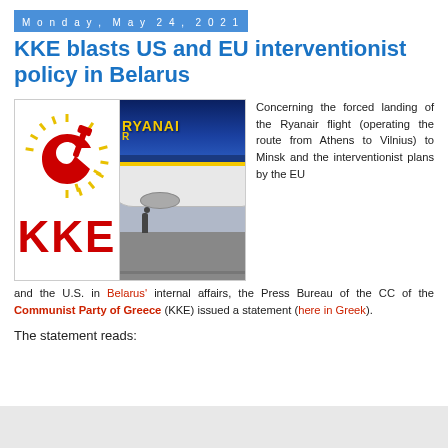Monday, May 24, 2021
KKE blasts US and EU interventionist policy in Belarus
[Figure (photo): KKE party logo (hammer and sickle above red KKE letters on white background with yellow sunburst) next to a photo of a Ryanair aircraft on the tarmac with ground crew visible]
Concerning the forced landing of the Ryanair flight (operating the route from Athens to Vilnius) to Minsk and the interventionist plans by the EU and the U.S. in Belarus' internal affairs, the Press Bureau of the CC of the Communist Party of Greece (KKE) issued a statement (here in Greek).
The statement reads: